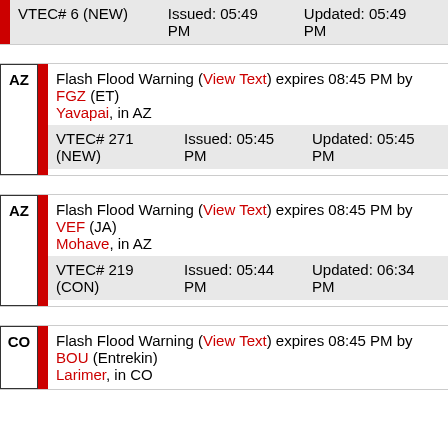VTEC# 6 (NEW) Issued: 05:49 PM   Updated: 05:49 PM
Flash Flood Warning (View Text) expires 08:45 PM by FGZ (ET)
Yavapai, in AZ
VTEC# 271 (NEW)   Issued: 05:45 PM   Updated: 05:45 PM
Flash Flood Warning (View Text) expires 08:45 PM by VEF (JA)
Mohave, in AZ
VTEC# 219 (CON)   Issued: 05:44 PM   Updated: 06:34 PM
Flash Flood Warning (View Text) expires 08:45 PM by BOU (Entrekin)
Larimer, in CO